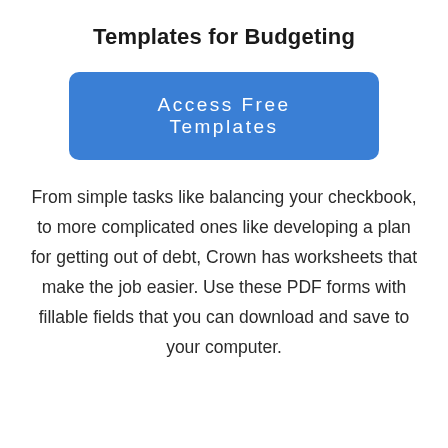Templates for Budgeting
[Figure (other): Blue rounded rectangle button labeled 'Access Free Templates']
From simple tasks like balancing your checkbook, to more complicated ones like developing a plan for getting out of debt, Crown has worksheets that make the job easier. Use these PDF forms with fillable fields that you can download and save to your computer.